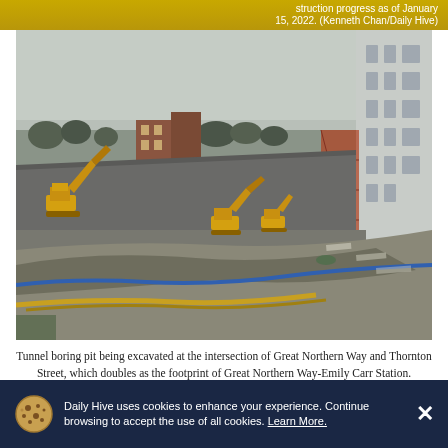struction progress as of January 15, 2022. (Kenneth Chan/Daily Hive)
[Figure (photo): Construction site showing a tunnel boring pit being excavated. Yellow excavators visible in a large open pit. Construction barriers and scaffolding on the right side. A grey multi-story building visible in the top right. Overcast sky. Foreground shows covered ground with blue hose/pipe running across it. Gravel and dirt visible.]
Tunnel boring pit being excavated at the intersection of Great Northern Way and Thornton Street, which doubles as the footprint of Great Northern Way-Emily Carr Station. Construction progress as of January
Daily Hive uses cookies to enhance your experience. Continue browsing to accept the use of all cookies. Learn More.